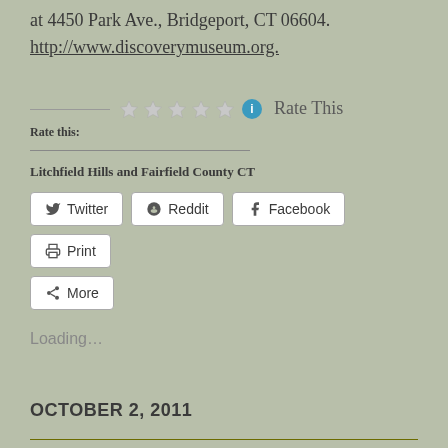at 4450 Park Ave., Bridgeport, CT 06604.
http://www.discoverymuseum.org.
Rate this: ★★★★★ Rate This
Litchfield Hills and Fairfield County CT
Twitter  Reddit  Facebook  Print  More
Loading...
OCTOBER 2, 2011
Janet